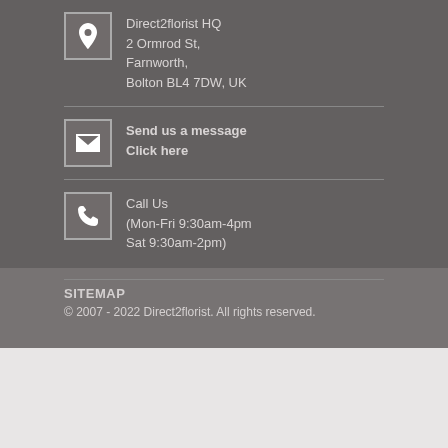Direct2florist HQ
2 Ormrod St,
Farnworth,
Bolton BL4 7DW, UK
Send us a message
Click here
Call Us
(Mon-Fri 9:30am-4pm
Sat 9:30am-2pm)
SITEMAP
© 2007 - 2022 Direct2florist. All rights reserved.